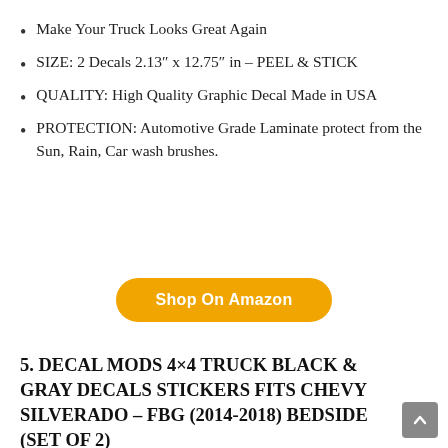Make Your Truck Looks Great Again
SIZE: 2 Decals 2.13″ x 12.75″ in – PEEL & STICK
QUALITY: High Quality Graphic Decal Made in USA
PROTECTION: Automotive Grade Laminate protect from the Sun, Rain, Car wash brushes.
Shop On Amazon
5. DECAL MODS 4×4 TRUCK BLACK & GRAY DECALS STICKERS FITS CHEVY SILVERADO – FBG (2014-2018) BEDSIDE (SET OF 2)